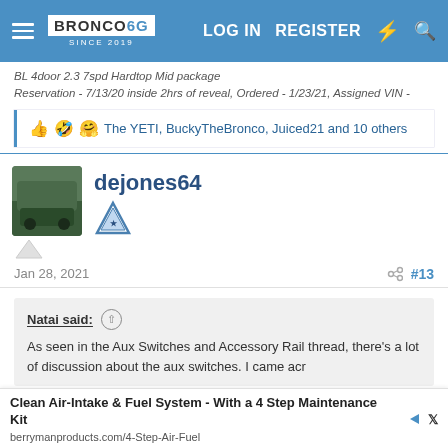BRONCO6G.COM SINCE 2019 | LOG IN | REGISTER
BL 4door 2.3 7spd Hardtop Mid package
Reservation - 7/13/20 inside 2hrs of reveal, Ordered - 1/23/21, Assigned VIN -
The YETI, BuckyTheBronco, Juiced21 and 10 others
dejones64
Jan 28, 2021
#13
Natai said:
As seen in the Aux Switches and Accessory Rail thread, there's a lot of discussion about the aux switches. I came acr... Ra... ur for
Clean Air-Intake & Fuel System - With a 4 Step Maintenance Kit
berrymanproducts.com/4-Step-Air-Fuel